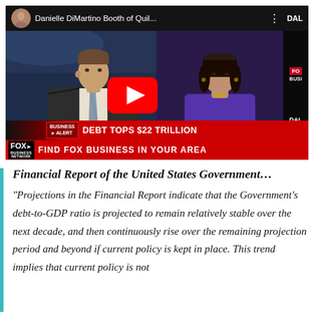[Figure (screenshot): YouTube video thumbnail showing Fox Business Network segment. Two news anchors (male in suit on left, female in purple dress on right) with a red YouTube play button overlay. Chyron reads 'BUSINESS ALERT — DEBT TOPS $22 TRILLION' and 'FIND FOX BUSINESS IN YOUR AREA'. Video title: 'Danielle DiMartino Booth of Quil...']
Financial Report of the United States Government…
“Projections in the Financial Report indicate that the Government’s debt-to-GDP ratio is projected to remain relatively stable over the next decade, and then continuously rise over the remaining projection period and beyond if current policy is kept in place. This trend implies that current policy is not